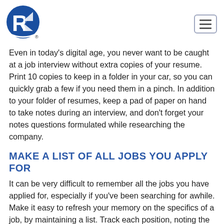[Realtor logo] [hamburger menu]
Even in today’s digital age, you never want to be caught at a job interview without extra copies of your resume. Print 10 copies to keep in a folder in your car, so you can quickly grab a few if you need them in a pinch. In addition to your folder of resumes, keep a pad of paper on hand to take notes during an interview, and don’t forget your notes questions formulated while researching the company.
MAKE A LIST OF ALL JOBS YOU APPLY FOR
It can be very difficult to remember all the jobs you have applied for, especially if you’ve been searching for awhile. Make it easy to refresh your memory on the specifics of a job, by maintaining a list. Track each position, noting the date you submitted your application along with a link to the job post for quick reference.